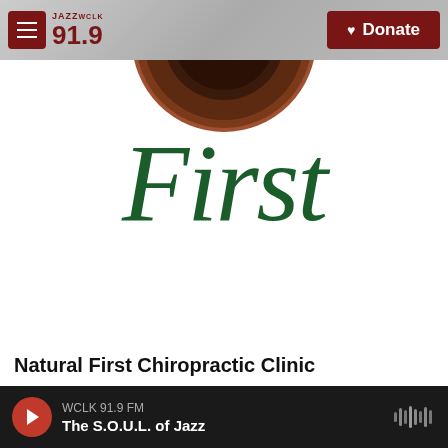JAZZ WCLK 91.9 FM — Donate
[Figure (logo): Natural First Chiropractic Clinic logo — partial circular wooden/earth-toned logo at top of white content area]
First
Natural First Chiropractic Clinic
WCLK 91.9 FM — The S.O.U.L. of Jazz